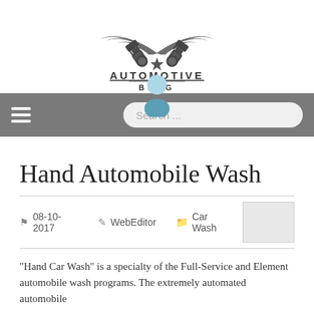[Figure (logo): Automotive Blog logo — two crossed pistons with wings and a star, above the text AUTOMOTIVE BLOG]
[Figure (illustration): User avatar icon (person silhouette in light and dark blue) centered above the navigation bar]
[Figure (screenshot): Navigation bar with hamburger menu icon on left and a search box on the right reading 'Search ...']
Hand Automobile Wash
08-10-2017   WebEditor   Car Wash
"Hand Car Wash" is a specialty of the Full-Service and Element automobile wash programs. The extremely automated automobile